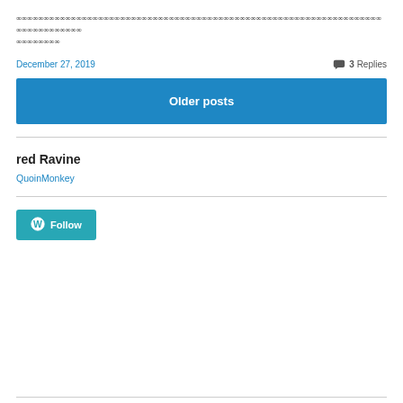∞∞∞∞∞∞∞∞∞∞∞∞∞∞∞∞∞∞∞∞∞∞∞∞∞∞∞∞∞∞∞∞∞∞∞∞∞∞∞∞∞∞∞∞∞∞∞∞∞∞∞∞∞∞∞∞∞∞∞∞∞∞∞∞∞∞∞∞∞∞∞∞∞∞∞∞ ∞∞∞∞∞∞∞∞
December 27, 2019    💬 3 Replies
Older posts
red Ravine
QuoinMonkey
[Figure (other): WordPress Follow button with W logo icon and 'Follow' text in teal/blue color]